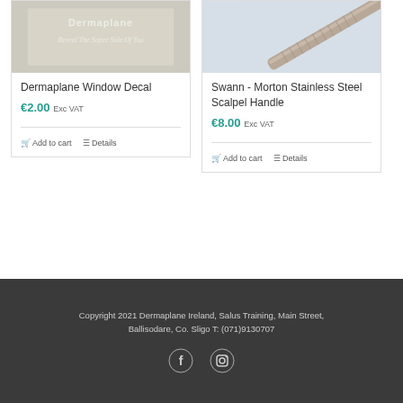[Figure (photo): Dermaplane branded window decal with light background and italic tagline text]
Dermaplane Window Decal
€2.00 Exc VAT
Add to cart   Details
[Figure (photo): Swann-Morton stainless steel scalpel handle product photo on light blue-grey background]
Swann - Morton Stainless Steel Scalpel Handle
€8.00 Exc VAT
Add to cart   Details
Copyright 2021 Dermaplane Ireland, Salus Training, Main Street, Ballisodare, Co. Sligo T: (071)9130707